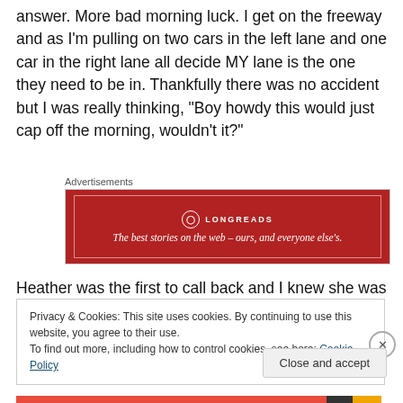answer. More bad morning luck. I get on the freeway and as I'm pulling on two cars in the left lane and one car in the right lane all decide MY lane is the one they need to be in. Thankfully there was no accident but I was really thinking, “Boy howdy this would just cap off the morning, wouldn’t it?”
[Figure (other): Longreads advertisement banner. Red background with white border, logo circle with 'L', text 'LONGREADS' and tagline 'The best stories on the web – ours, and everyone else’s.']
Heather was the first to call back and I knew she was
Privacy & Cookies: This site uses cookies. By continuing to use this website, you agree to their use.
To find out more, including how to control cookies, see here: Cookie Policy